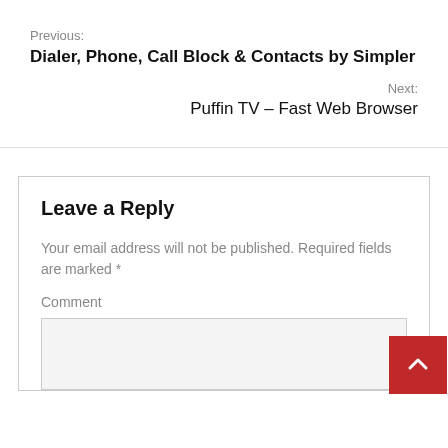Previous:
Dialer, Phone, Call Block & Contacts by Simpler
Next:
Puffin TV – Fast Web Browser
Leave a Reply
Your email address will not be published. Required fields are marked *
Comment